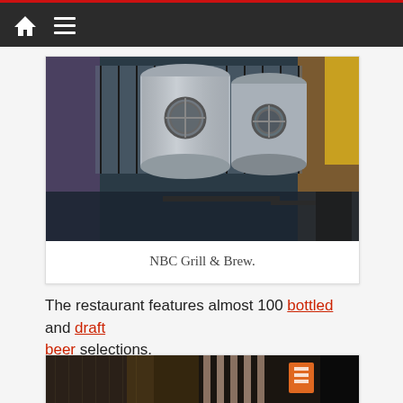NBC Grill & Brew - navigation bar with home and menu icons
[Figure (photo): Interior photo of NBC Grill & Brew showing large stainless steel brewing tanks with dining area and large windows in background]
NBC Grill & Brew.
The restaurant features almost 100 bottled and draft beer selections.
[Figure (photo): Interior photo of NBC Grill & Brew bar area showing taps, bottles, and bar equipment]